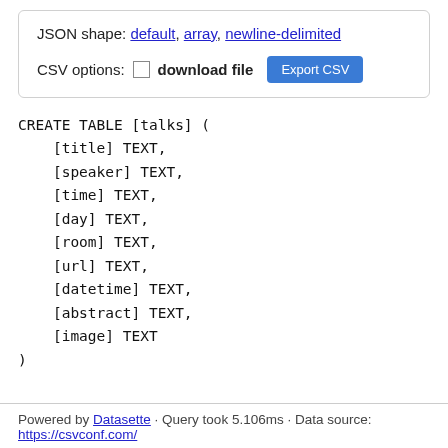JSON shape: default, array, newline-delimited
CSV options:  download file  Export CSV
CREATE TABLE [talks] (
    [title] TEXT,
    [speaker] TEXT,
    [time] TEXT,
    [day] TEXT,
    [room] TEXT,
    [url] TEXT,
    [datetime] TEXT,
    [abstract] TEXT,
    [image] TEXT
)
Powered by Datasette · Query took 5.106ms · Data source: https://csvconf.com/